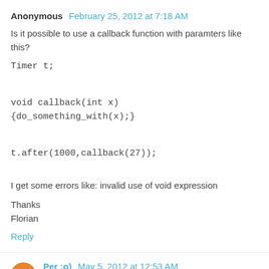Anonymous February 25, 2012 at 7:18 AM
Is it possible to use a callback function with paramters like this?
Timer t;
void callback(int x)
{do_something_with(x);}
t.after(1000,callback(27));
I get some errors like: invalid use of void expression
Thanks
Florian
Reply
Per :o) May 5, 2012 at 12:53 AM
Very fine library. But I having some problem with the after-